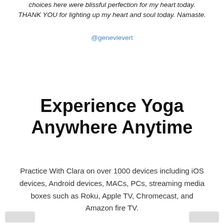choices here were blissful perfection for my heart today. THANK YOU for lighting up my heart and soul today. Namaste.
@genevievert
Experience Yoga Anywhere Anytime
Practice With Clara on over 1000 devices including iOS devices, Android devices, MACs, PCs, streaming media boxes such as Roku, Apple TV, Chromecast, and Amazon fire TV.